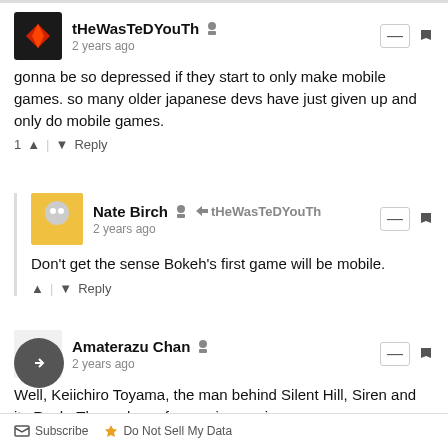tHeWasTeDYouTh — 2 years ago
gonna be so depressed if they start to only make mobile games. so many older japanese devs have just given up and only do mobile games.
Nate Birch → tHeWasTeDYouTh — 2 years ago
Don't get the sense Bokeh's first game will be mobile.
Amaterazu Chan — 2 years ago
Well, Keiichiro Toyama, the man behind Silent Hill, Siren and ity Rush. Theres hope for gaming again.
Subscribe  Do Not Sell My Data